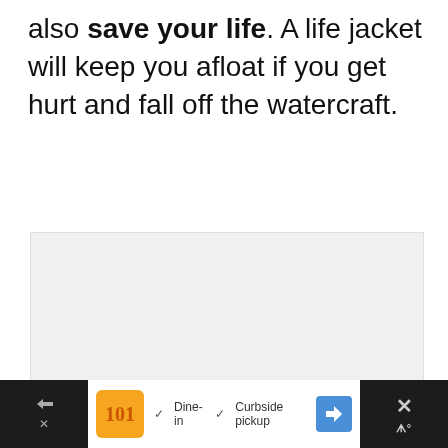also save your life. A life jacket will keep you afloat if you get hurt and fall off the watercraft.
[Figure (photo): Image placeholder with loading indicator (three gray squares) on a light gray background]
[Figure (other): Advertisement bar: restaurant ad with orange logo, checkmarks for Dine-in and Curbside pickup, navigation arrow icon, and close button]